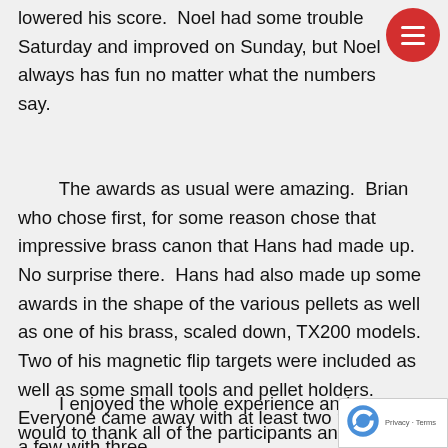lowered his score.  Noel had some trouble Saturday and improved on Sunday, but Noel always has fun no matter what the numbers say.
The awards as usual were amazing.  Brian who chose first, for some reason chose that impressive brass canon that Hans had made up.  No surprise there.  Hans had also made up some awards in the shape of the various pellets as well as one of his brass, scaled down, TX200 models.  Two of his magnetic flip targets were included as well as some small tools and pellet holders.  Everyone came away with at least two prizes and a few with three.
I enjoyed the whole experience and would to thank all of the participants and those who helped